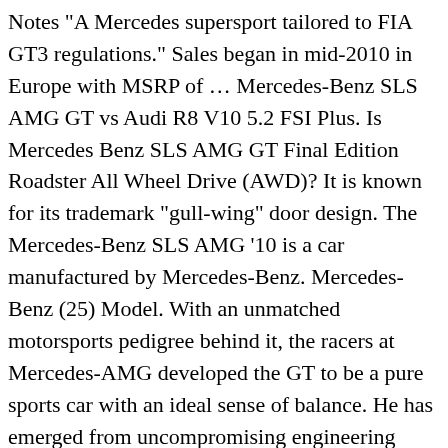Notes "A Mercedes supersport tailored to FIA GT3 regulations." Sales began in mid-2010 in Europe with MSRP of … Mercedes-Benz SLS AMG GT vs Audi R8 V10 5.2 FSI Plus. Is Mercedes Benz SLS AMG GT Final Edition Roadster All Wheel Drive (AWD)? It is known for its trademark "gull-wing" door design. The Mercedes-Benz SLS AMG '10 is a car manufactured by Mercedes-Benz. Mercedes-Benz (25) Model. With an unmatched motorsports pedigree behind it, the racers at Mercedes-AMG developed the GT to be a pure sports car with an ideal sense of balance. He has emerged from uncompromising engineering paired with unprecedented performance – especially on the race track. Launched for 2015, the AMG GT is the direct successor to the now-iconic SLS AMG gullwing and roadster. It's a 2015 Mercedes-Benz SLS AMG GT Final Edition Coupe with only 94 miles on the clock. Gesamtpreis, MwSt. Overall Auto Express Rating. Buy used Mercedes-Benz SLS AMG GT near you. Mercedes-Benz SLS AMG GT3. This SLS AMG